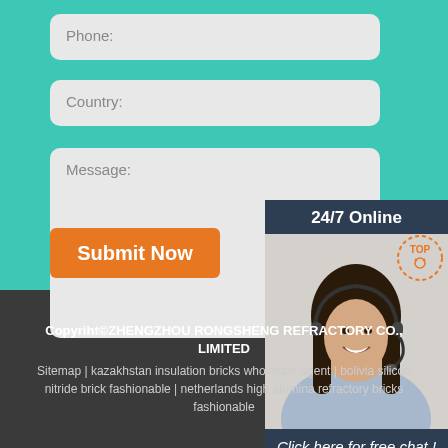Phone:
Country:
Message:
Submit Now
24/7 Online
[Figure (photo): Customer service woman with headset smiling]
Click here for free chat !
QUOTATION
Copyriht©ZHENGZHOU RONGSHENG REFRACTORY CO., LIMITED
Sitemap | kazakhstan insulation bricks wholesale agent | bolivia silicon nitride brick fashionable | netherlands high alumina refractory bricks fashionable